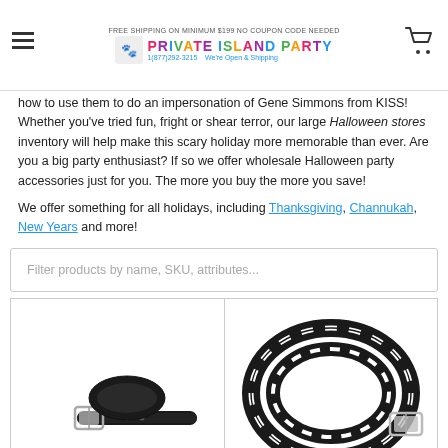FREE SHIPPING ON MINIMUM $199 NO COUPON CODE NEEDED | PRIVATE ISLAND PARTY | 18771292-3215 | We're Open & Shipping
how to use them to do an impersonation of Gene Simmons from KISS! Whether you've tried fun, fright or shear terror, our large Halloween stores inventory will help make this scary holiday more memorable than ever. Are you a big party enthusiast? If so we offer wholesale Halloween party accessories just for you. The more you buy the more you save!
We offer something for all holidays, including Thanksgiving, Channukah, New Years and more!
Filter products by name, SKU, attributes...
[Figure (photo): Black leather belt with silver buckle, coiled/folded view]
[Figure (photo): Black and white striped belt coiled up with silver buckle visible]